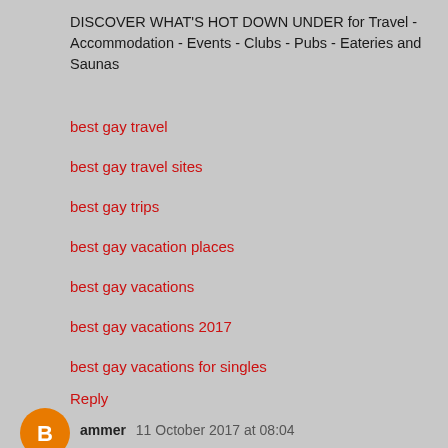DISCOVER WHAT'S HOT DOWN UNDER for Travel - Accommodation - Events - Clubs - Pubs - Eateries and Saunas
best gay travel
best gay travel sites
best gay trips
best gay vacation places
best gay vacations
best gay vacations 2017
best gay vacations for singles
Reply
ammer 11 October 2017 at 08:04